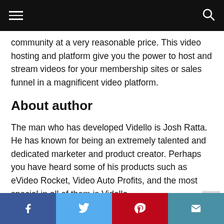[Navigation bar with hamburger menu and search icon]
community at a very reasonable price. This video hosting and platform give you the power to host and stream videos for your membership sites or sales funnel in a magnificent video platform.
About author
The man who has developed Vidello is Josh Ratta. He has known for being an extremely talented and dedicated marketer and product creator. Perhaps you have heard some of his products such as eVideo Rocket, Video Auto Profits, and the most special in all of them is Vidello.
[Social share bar: Facebook, Twitter, Pinterest, Email]